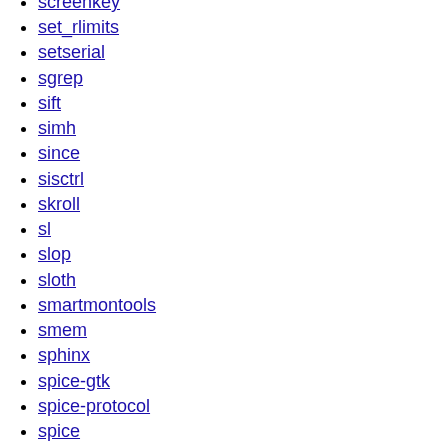screenkey
set_rlimits
setserial
sgrep
sift
simh
since
sisctrl
skroll
sl
slop
sloth
smartmontools
smem
sphinx
spice-gtk
spice-protocol
spice
spt
statifier
stopwatch
stow
strigi
sudo